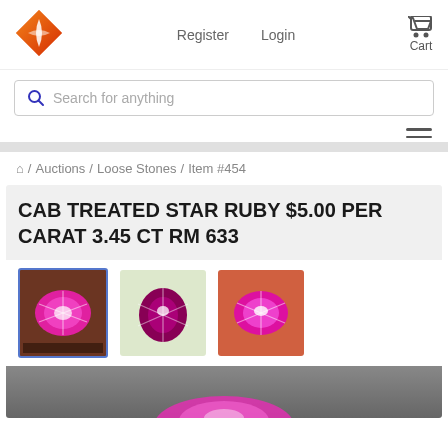[Figure (logo): Red/orange diamond-shaped gem logo]
Register   Login
[Figure (illustration): Shopping cart icon with Cart label]
Search for anything
[Figure (illustration): Hamburger menu icon (three horizontal lines)]
⌂ / Auctions / Loose Stones / Item #454
CAB TREATED STAR RUBY $5.00 PER CARAT 3.45 CT RM 633
[Figure (photo): Three thumbnail photos of a pink/magenta star ruby cabochon gemstone showing star effect from different angles]
[Figure (photo): Large partial photo of a pink star ruby gemstone on a dark background]